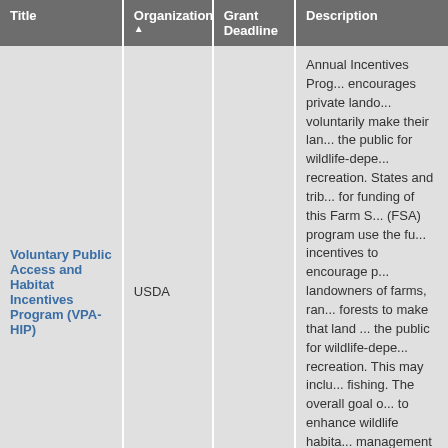| Title | Organization ▲ | Grant Deadline | Description |
| --- | --- | --- | --- |
| Voluntary Public Access and Habitat Incentives Program (VPA-HIP) | USDA |  | Annual Incentives Program encourages private landowners to voluntarily make their land open to the public for wildlife-dependent recreation. States and tribes apply for funding of this Farm Service (FSA) program use the funds as incentives to encourage private landowners of farms, ranches, and forests to make that land open to the public for wildlife-dependent recreation. This may include fishing. The overall goal of the program is to enhance wildlife habitat management and to boost rural economies through activities for wildlife enthusiasts. |
|  |  |  | Deadline passed. Most recent deadline: April 5, 2022. Agricultural Marketing Service will establish cooperative agreements with state and tribal gove... |